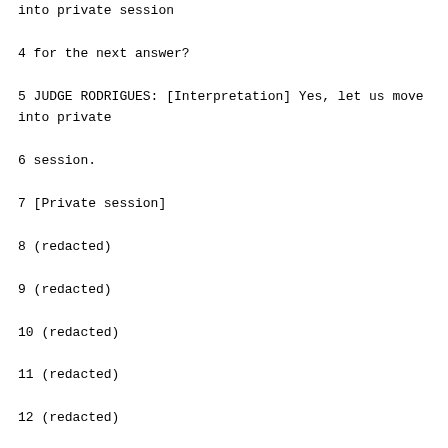into private session
4 for the next answer?
5 JUDGE RODRIGUES: [Interpretation] Yes, let us move into private
6 session.
7 [Private session]
8 (redacted)
9 (redacted)
10 (redacted)
11 (redacted)
12 (redacted)
13 [Open session]
14 MR. JOVANOVIC: [Interpretation]
15 Q. How did you learn that they were in the camp?
16 A. Mladjo told me that they were there, and I went to visit them.
17 Q. Could you explain, please, whether you are any relation to Mladjo